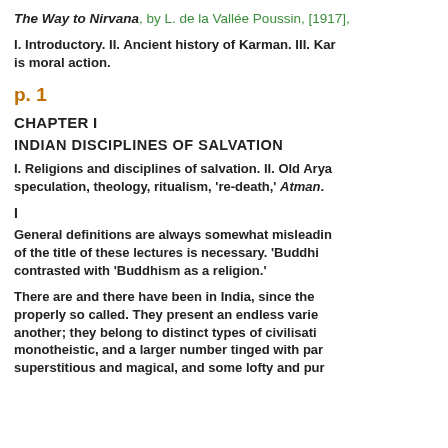The Way to Nirvana, by L. de la Vallée Poussin, [1917],
I. Introductory. II. Ancient history of Karman. III. Ka is moral action.
p. 1
CHAPTER I
INDIAN DISCIPLINES OF SALVATION
I. Religions and disciplines of salvation. II. Old Arya speculation, theology, ritualism, 're-death,' Atman.
I
General definitions are always somewhat misleadin of the title of these lectures is necessary. 'Buddhi contrasted with 'Buddhism as a religion.'
There are and there have been in India, since the properly so called. They present an endless varie another; they belong to distinct types of civilisati monotheistic, and a larger number tinged with par superstitious and magical, and some lofty and pur